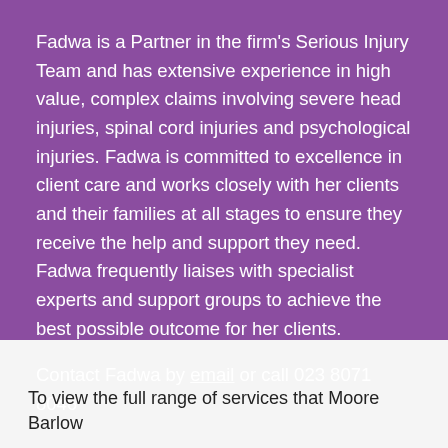Fadwa is a Partner in the firm's Serious Injury Team and has extensive experience in high value, complex claims involving severe head injuries, spinal cord injuries and psychological injuries. Fadwa is committed to excellence in client care and works closely with her clients and their families at all stages to ensure they receive the help and support they need. Fadwa frequently liaises with specialist experts and support groups to achieve the best possible outcome for her clients.
Contact Fadwa by email or call 023 8071 8046
To view the full range of services that Moore Barlow